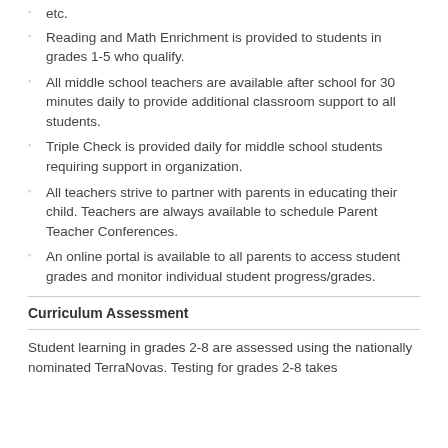etc.
Reading and Math Enrichment is provided to students in grades 1-5 who qualify.
All middle school teachers are available after school for 30 minutes daily to provide additional classroom support to all students.
Triple Check is provided daily for middle school students requiring support in organization.
All teachers strive to partner with parents in educating their child. Teachers are always available to schedule Parent Teacher Conferences.
An online portal is available to all parents to access student grades and monitor individual student progress/grades.
Curriculum Assessment
Student learning in grades 2-8 are assessed using the nationally nominated TerraNovas. Testing for grades 2-8 takes